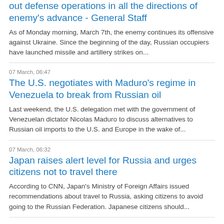out defense operations in all the directions of enemy's advance - General Staff
As of Monday morning, March 7th, the enemy continues its offensive against Ukraine. Since the beginning of the day, Russian occupiers have launched missile and artillery strikes on...
07 March, 06:47
The U.S. negotiates with Maduro's regime in Venezuela to break from Russian oil
Last weekend, the U.S. delegation met with the government of Venezuelan dictator Nicolas Maduro to discuss alternatives to Russian oil imports to the U.S. and Europe in the wake of...
07 March, 06:32
Japan raises alert level for Russia and urges citizens not to travel there
According to CNN, Japan's Ministry of Foreign Affairs issued recommendations about travel to Russia, asking citizens to avoid going to the Russian Federation. Japanese citizens should...